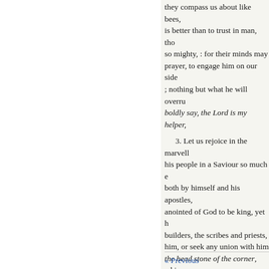they compass us about like bees, is better than to trust in man, tho so mighty, : for their minds may prayer, to engage him on our side ; nothing but what he will overru boldly say, the Lord is my helper,
3. Let us rejoice in the marvel his people in a Saviour so much both by himself and his apostles, anointed of God to be king, yet h builders, the scribes and priests, him, or seek any union with him the head stone of the corner, whi and Gentiles ; and he, as a living in our eyes. Let us celebrate this for himself ; and let us rejoice ar
4. Let us cordially welcome Je Blessed be he that cometh in the Christ, when he entered in triump come his Son and Lord ! He com to promote his glory in
« Previous